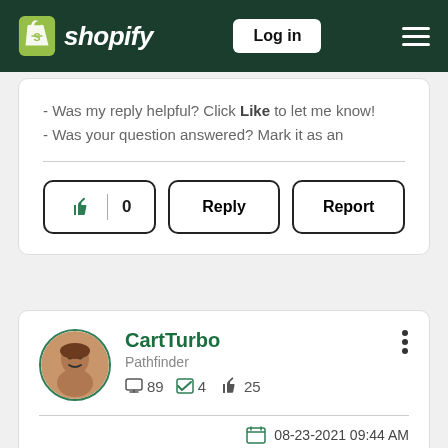[Figure (screenshot): Shopify community forum page screenshot showing header with Shopify logo, Log in button, hamburger menu, a partial comment card with like/reply/report buttons, and a user card for CartTurbo (Pathfinder) with stats and date 08-23-2021 09:44 AM]
shopify   Log in   ≡
- Was my reply helpful? Click Like to let me know!
- Was your question answered? Mark it as an
👍 0   Reply   Report
CartTurbo
Pathfinder
💬 89   ✔ 4   👍 25
08-23-2021 09:44 AM